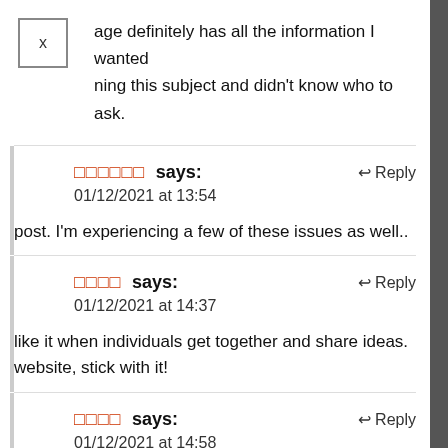age definitely has all the information I wanted ning this subject and didn't know who to ask.
□□□□□□ says: 01/12/2021 at 13:54
post. I'm experiencing a few of these issues as well..
□□□□ says: 01/12/2021 at 14:37
like it when individuals get together and share ideas. website, stick with it!
□□□□ says: 01/12/2021 at 14:58